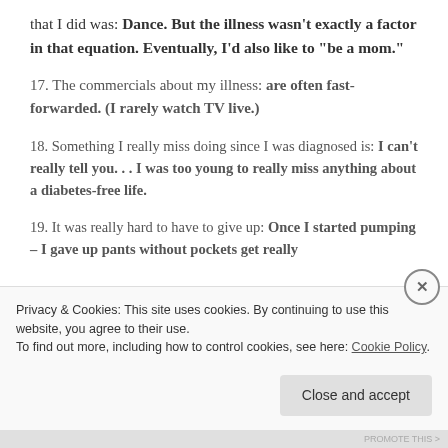that I did was: Dance. But the illness wasn't exactly a factor in that equation. Eventually, I'd also like to "be a mom."
17. The commercials about my illness: are often fast-forwarded. (I rarely watch TV live.)
18. Something I really miss doing since I was diagnosed is: I can't really tell you... I was too young to really miss anything about a diabetes-free life.
19. It was really hard to have to give up: Once I started pumping – I gave up pants without pockets get really
Privacy & Cookies: This site uses cookies. By continuing to use this website, you agree to their use. To find out more, including how to control cookies, see here: Cookie Policy
Close and accept